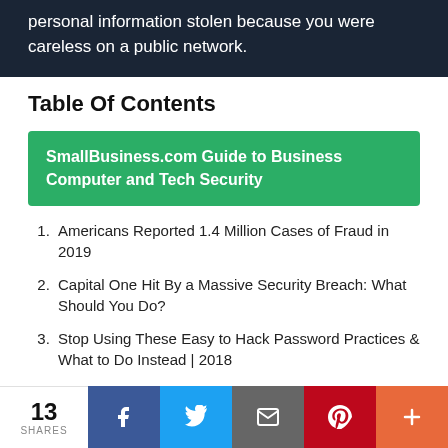personal information stolen because you were careless on a public network.
Table Of Contents
SmallBusiness.com Guide to Business Computer and Tech Security
Americans Reported 1.4 Million Cases of Fraud in 2019
Capital One Hit By a Massive Security Breach: What Should You Do?
Stop Using These Easy to Hack Password Practices & What to Do Instead | 2018
Russian Cyber Teams Are Infiltrating Small Business Computer Networks. What You Should Do! | May 2018
13 SHARES